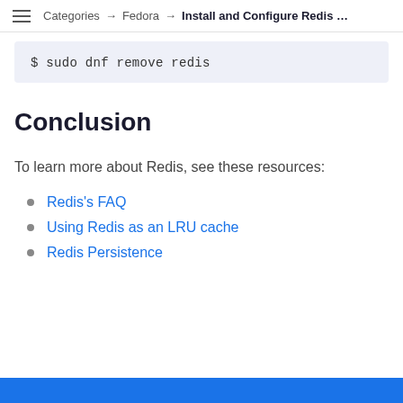Categories → Fedora → Install and Configure Redis …
$ sudo dnf remove redis
Conclusion
To learn more about Redis, see these resources:
Redis's FAQ
Using Redis as an LRU cache
Redis Persistence